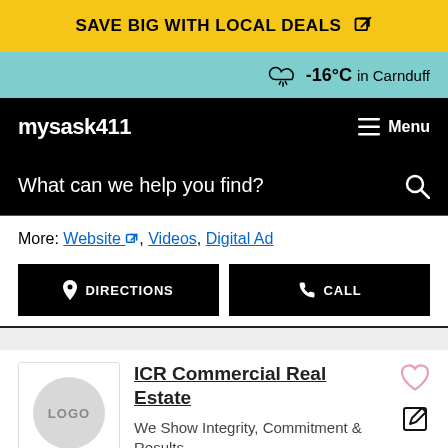SAVE BIG WITH LOCAL DEALS
-16°C in Carnduff
mysask411  Menu
What can we help you find?
More: Website, Videos, Digital Ad
DIRECTIONS   CALL
ICR Commercial Real Estate
We Show Integrity, Commitment & Results
OPEN